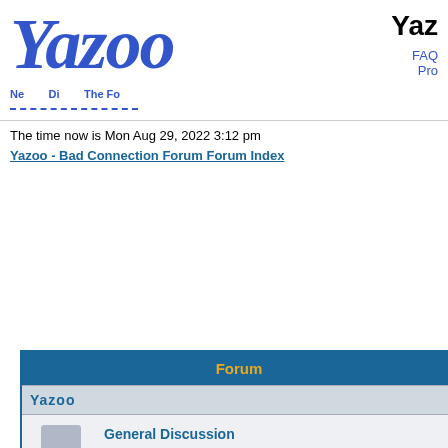[Figure (logo): Yazoo logo in large blue italic serif font]
Yaz  FAQ  Profile
The time now is Mon Aug 29, 2022 3:12 pm
Yazoo - Bad Connection Forum Forum Index
| Forum |
| --- |
| Yazoo |
| General Discussion | To talk about Yazoo |
| Yazoo Reconnected Tour 2008 | Share your comments, news and rumours about the new tour comming in Ju |
| Discography | Yazoo's Discography |
| Related Projects |
| The Assembly | Vince, Eric and Feargal Sharkey
Moderator medu |